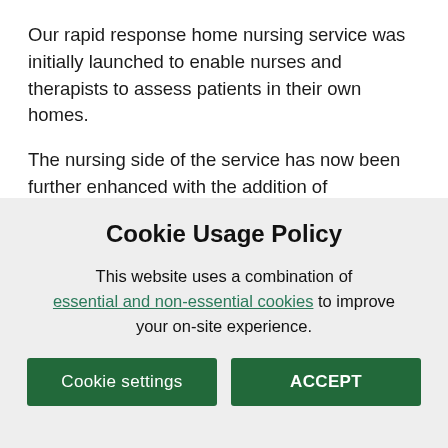Our rapid response home nursing service was initially launched to enable nurses and therapists to assess patients in their own homes.
The nursing side of the service has now been further enhanced with the addition of community matrons who have more advanced clinical skills and particular...
Cookie Usage Policy
This website uses a combination of essential and non-essential cookies to improve your on-site experience.
Cookie settings | ACCEPT